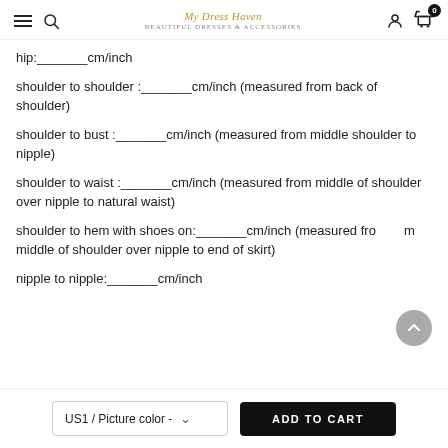Navigation header with menu, search, logo, user, and cart icons
hip:_______cm/inch
shoulder to shoulder :_______cm/inch (measured from back of shoulder)
shoulder to bust :_______cm/inch (measured from middle shoulder to nipple)
shoulder to waist :_______cm/inch (measured from middle of shoulder over nipple to natural waist)
shoulder to hem with shoes on:_______cm/inch (measured from middle of shoulder over nipple to end of skirt)
nipple to nipple:_______cm/inch